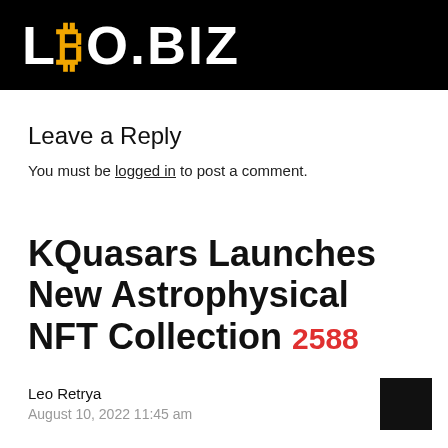[Figure (logo): LBO.BIZ logo on black background with Bitcoin symbol replacing the 'B']
Leave a Reply
You must be logged in to post a comment.
KQuasars Launches New Astrophysical NFT Collection  2588
Leo Retrya
August 10, 2022 11:45 am